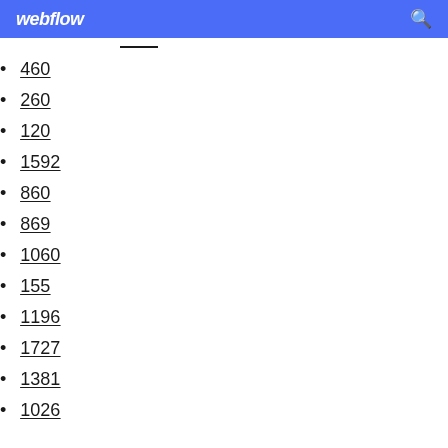webflow
460
260
120
1592
860
869
1060
155
1196
1727
1381
1026